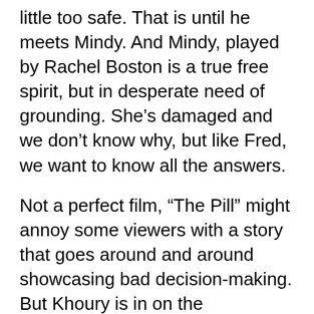little too safe. That is until he meets Mindy. And Mindy, played by Rachel Boston is a true free spirit, but in desperate need of grounding. She’s damaged and we don’t know why, but like Fred, we want to know all the answers.
Not a perfect film, “The Pill” might annoy some viewers with a story that goes around and around showcasing bad decision-making. But Khoury is in on the experiment, his screenplay even gives once “My Girl” star Anna Chlumsky a chance to show us a more mature side without getting too tawdry. Chlumsky needs a better vehicle for her talent, but as the jilted and superficial